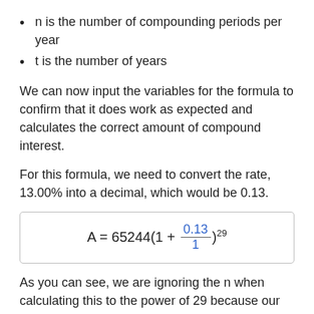n is the number of compounding periods per year
t is the number of years
We can now input the variables for the formula to confirm that it does work as expected and calculates the correct amount of compound interest.
For this formula, we need to convert the rate, 13.00% into a decimal, which would be 0.13.
As you can see, we are ignoring the n when calculating this to the power of 29 because our example is for annual compounding, or one